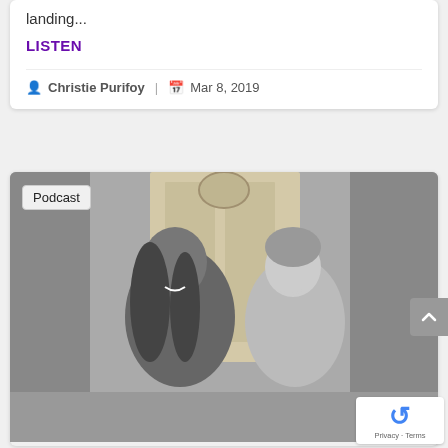landing...
LISTEN
Christie Purifoy | Mar 8, 2019
[Figure (photo): Black and white photo of two women sitting and laughing in front of a door with brick walls. A 'Podcast' badge overlays the top-left corner.]
Privacy · Terms